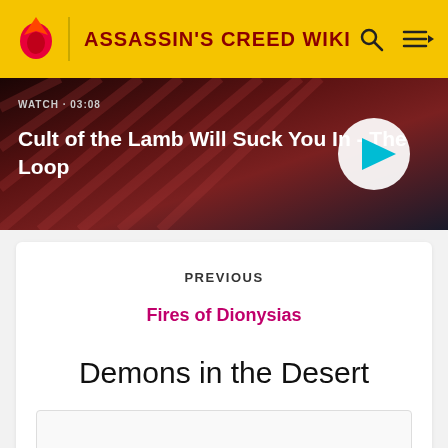ASSASSIN'S CREED WIKI
[Figure (screenshot): Video thumbnail banner for 'Cult of the Lamb Will Suck You In - The Loop' with WATCH label, timestamp 03:08, and a play button]
PREVIOUS
Fires of Dionysias
Demons in the Desert
[Figure (other): Image placeholder at bottom of page]